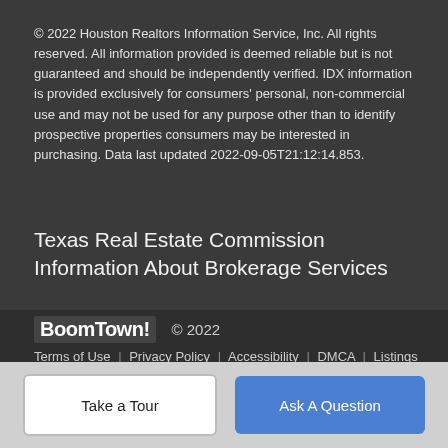© 2022 Houston Realtors Information Service, Inc. All rights reserved. All information provided is deemed reliable but is not guaranteed and should be independently verified. IDX information is provided exclusively for consumers' personal, non-commercial use and may not be used for any purpose other than to identify prospective properties consumers may be interested in purchasing. Data last updated 2022-09-05T21:12:14.853.
Texas Real Estate Commission Information About Brokerage Services
BoomTown! © 2022
Terms of Use | Privacy Policy | Accessibility | DMCA | Listings Sitemap
Take a Tour
Ask A Question